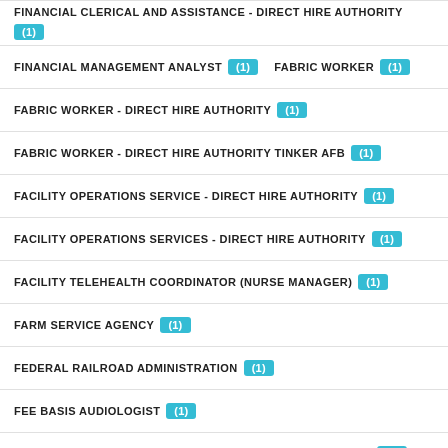FINANCIAL CLERICAL AND ASSISTANCE - DIRECT HIRE AUTHORITY (1)
FINANCIAL MANAGEMENT ANALYST (1)   FABRIC WORKER (1)
FABRIC WORKER - DIRECT HIRE AUTHORITY (1)
FABRIC WORKER - DIRECT HIRE AUTHORITY TINKER AFB (1)
FACILITY OPERATIONS SERVICE - DIRECT HIRE AUTHORITY (1)
FACILITY OPERATIONS SERVICES - DIRECT HIRE AUTHORITY (1)
FACILITY TELEHEALTH COORDINATOR (NURSE MANAGER) (1)
FARM SERVICE AGENCY (1)
FEDERAL RAILROAD ADMINISTRATION (1)
FEE BASIS AUDIOLOGIST (1)
FEE BASIS EMERGENCY DEPT/ACUTE INPATIENT PHYSICIANS (1)
FINANCIAL ADMINISTRATION & PROGRAM - DIRECT HIRE AUTHORITY
FINANCIAL ADMINISTRATION - DIRECT HIRE AUTHORITY (1)